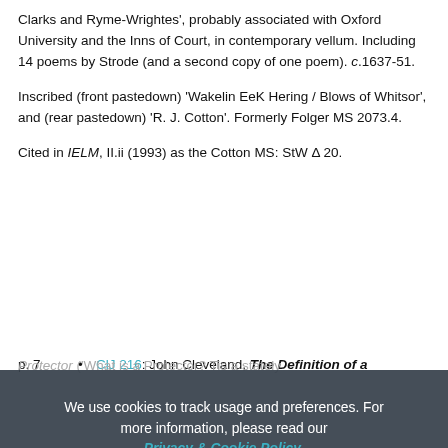Clarks and Ryme-Wrightes', probably associated with Oxford University and the Inns of Court, in contemporary vellum. Including 14 poems by Strode (and a second copy of one poem). c.1637-51.
Inscribed (front pastedown) 'Wakelin EeK Hering / Blows of Whitsor', and (rear pastedown) 'R. J. Cotton'. Formerly Folger MS 2073.4.
Cited in IELM, II.ii (1993) as the Cotton MS: StW Δ 20.
p. 7  •  ClJ 216: John Cleveland, The Definition of a Protector ('What is a Protector? Tis a stately thing'). Copy. Published in: Cleveland Revived (London, 1660), pp. 46-7; The Works of Mr. John...
We use cookies to track usage and preferences. For more information, please read our Privacy & Cookie Policy.